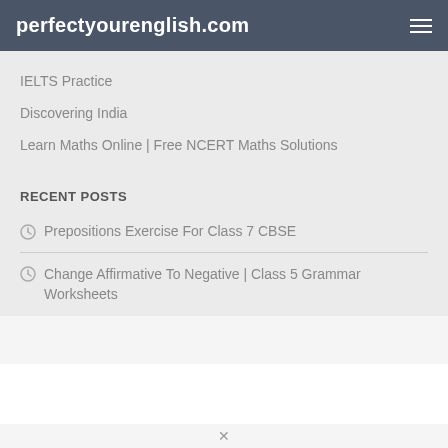perfectyourenglish.com
IELTS Practice
Discovering India
Learn Maths Online | Free NCERT Maths Solutions
RECENT POSTS
Prepositions Exercise For Class 7 CBSE
Change Affirmative To Negative | Class 5 Grammar Worksheets